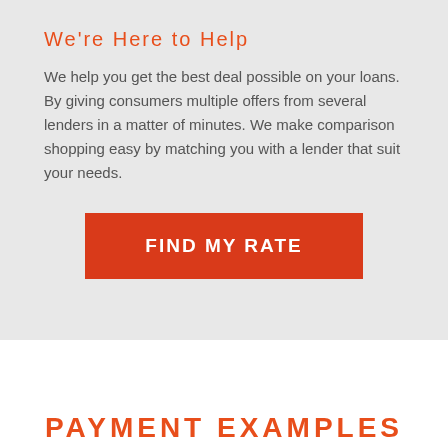We're Here to Help
We help you get the best deal possible on your loans. By giving consumers multiple offers from several lenders in a matter of minutes. We make comparison shopping easy by matching you with a lender that suit your needs.
[Figure (other): Orange/red rectangular button with white bold uppercase text reading FIND MY RATE]
PAYMENT EXAMPLES